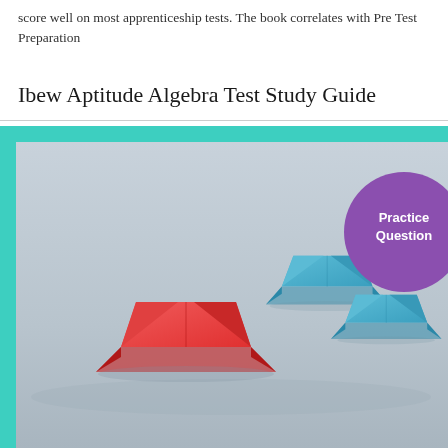score well on most apprenticeship tests. The book correlates with Pre Test Preparation
Ibew Aptitude Algebra Test Study Guide
[Figure (photo): Photo of origami paper boats — one red boat leading three blue/teal boats on a light grey surface. A purple circular badge overlaid in the upper right reads 'Practice Questions'.]